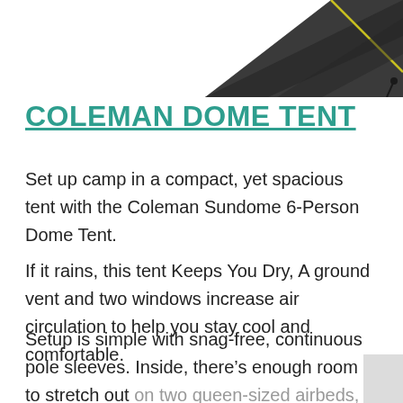[Figure (photo): Partial top view of a dark grey Coleman dome tent against white background, showing the tent apex and poles with a yellow/green accent stripe.]
COLEMAN DOME TENT
Set up camp in a compact, yet spacious tent with the Coleman Sundome 6-Person Dome Tent.
If it rains, this tent Keeps You Dry, A ground vent and two windows increase air circulation to help you stay cool and comfortable.
Setup is simple with snag-free, continuous pole sleeves. Inside, there’s enough room to stretch out on two queen-sized airbeds, and storage pockets help to keep small items organized.